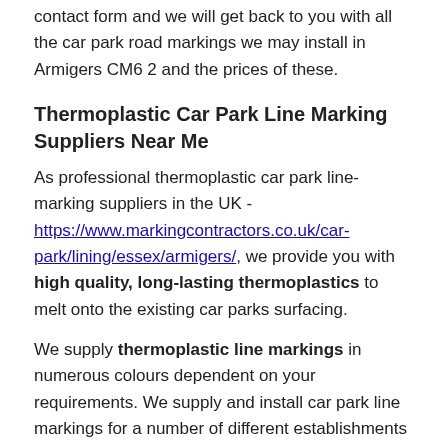contact form and we will get back to you with all the car park road markings we may install in Armigers CM6 2 and the prices of these.
Thermoplastic Car Park Line Marking Suppliers Near Me
As professional thermoplastic car park line-marking suppliers in the UK - https://www.markingcontractors.co.uk/car-park/lining/essex/armigers/, we provide you with high quality, long-lasting thermoplastics to melt onto the existing car parks surfacing.
We supply thermoplastic line markings in numerous colours dependent on your requirements. We supply and install car park line markings for a number of different establishments including shopping centres, supermarkets, schools and colleges.
We are able to meet up with any of your needs and requirements, so please speak to our staff if you've got any specific requests. Car park bay lines are a great way to prevent accidents and make the area look neater.